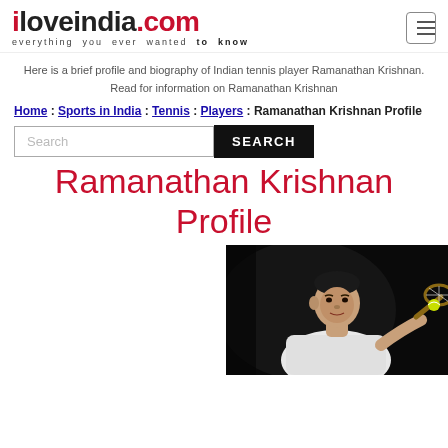iloveindia.com – everything you ever wanted to know
Here is a brief profile and biography of Indian tennis player Ramanathan Krishnan. Read for information on Ramanathan Krishnan
Home : Sports in India : Tennis : Players : Ramanathan Krishnan Profile
Ramanathan Krishnan Profile
[Figure (photo): Photo of Ramanathan Krishnan playing tennis, holding a racket, wearing white, dark background]